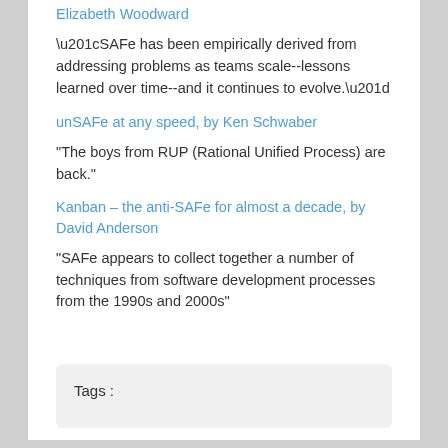Elizabeth Woodward
“SAFe has been empirically derived from addressing problems as teams scale--lessons learned over time--and it continues to evolve.”
unSAFe at any speed, by Ken Schwaber
“The boys from RUP (Rational Unified Process) are back.”
Kanban – the anti-SAFe for almost a decade, by David Anderson
“SAFe appears to collect together a number of techniques from software development processes from the 1990s and 2000s”
Tags :